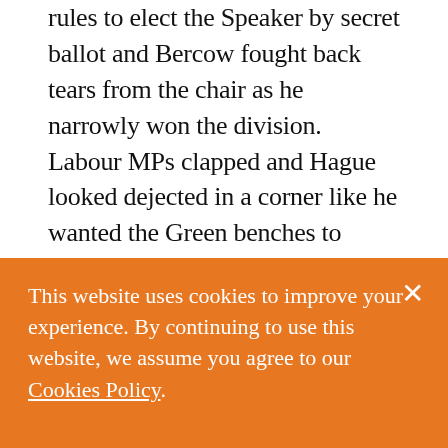rules to elect the Speaker by secret ballot and Bercow fought back tears from the chair as he narrowly won the division. Labour MPs clapped and Hague looked dejected in a corner like he wanted the Green benches to swallow him up. Once a Conservative himself but moving ever leftwards, the shambolic, failed ousting seemed to go some way to explaining why Bercow hated the Tory government so much. The coup attempt was the Bay of Pigs to Bercow's Castro.
This website uses cookies to improve your experience. By continuing to use this website, we assume you agree to our Cookies Policy.